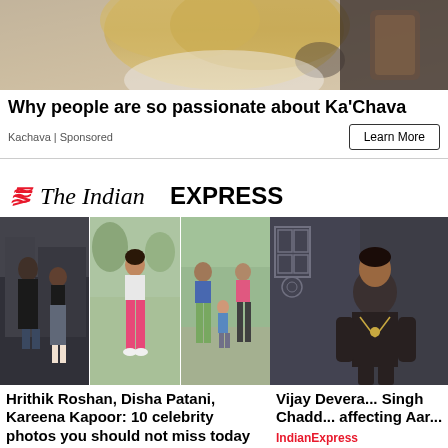[Figure (photo): Advertisement banner image showing a person with blond hair and tattoos, holding a Ka'Chava product]
Why people are so passionate about Ka'Chava
Kachava | Sponsored
Learn More
[Figure (logo): The Indian Express logo with red wave marks and serif/sans-serif typography]
[Figure (photo): Three celebrity photos side by side: Hrithik Roshan with a woman, Disha Patani in pink pants, Kareena Kapoor with Saif Ali Khan and child]
Hrithik Roshan, Disha Patani, Kareena Kapoor: 10 celebrity photos you should not miss today
IndianExpress
[Figure (photo): Vijay Deverakonda sitting against a wall in dark clothing with necklace]
Vijay Devera... Singh Chadd... affecting Aar...
IndianExpress